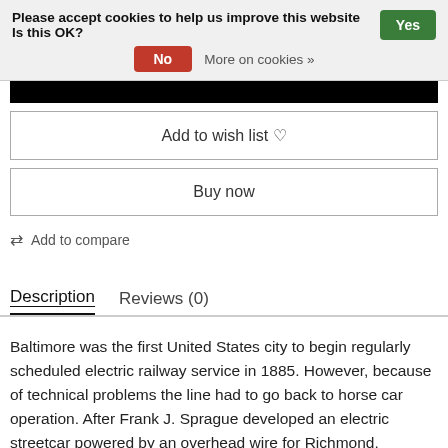Please accept cookies to help us improve this website Is this OK? Yes No More on cookies »
[Figure (other): Black image strip (product image, cropped)]
Add to wish list ♡
Buy now
⇄ Add to compare
Description
Reviews (0)
Baltimore was the first United States city to begin regularly scheduled electric railway service in 1885. However, because of technical problems the line had to go back to horse car operation. After Frank J. Sprague developed an electric streetcar powered by an overhead wire for Richmond, Virginia, Baltimore...